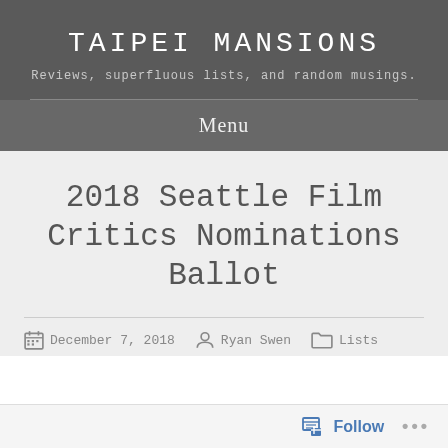TAIPEI MANSIONS
Reviews, superfluous lists, and random musings.
Menu
2018 Seattle Film Critics Nominations Ballot
December 7, 2018  Ryan Swen  Lists